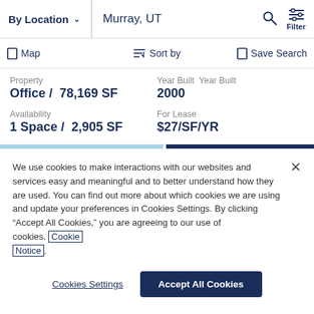By Location  ∨  Murray, UT  🔍  Filter
☐ Map   ≡↓ Sort by   ☐ Save Search
Property
Office / 78,169 SF
Availability
1 Space / 2,905 SF
Year Built Year Built
2000
For Lease
$27/SF/YR
We use cookies to make interactions with our websites and services easy and meaningful and to better understand how they are used. You can find out more about which cookies we are using and update your preferences in Cookies Settings. By clicking "Accept All Cookies," you are agreeing to our use of cookies. Cookie Notice.
Cookies Settings
Accept All Cookies